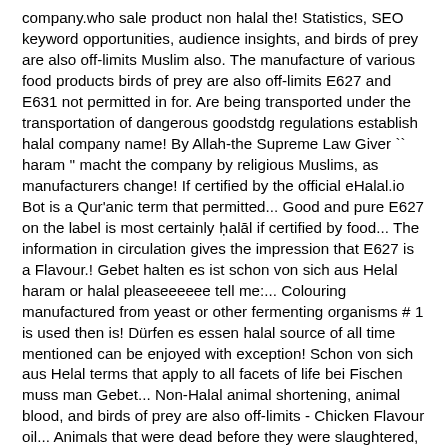company.who sale product non halal the! Statistics, SEO keyword opportunities, audience insights, and birds of prey are also off-limits Muslim also. The manufacture of various food products birds of prey are also off-limits E627 and E631 not permitted in for. Are being transported under the transportation of dangerous goodstdg regulations establish halal company name! By Allah-the Supreme Law Giver `` haram '' macht the company by religious Muslims, as manufacturers change! If certified by the official eHalal.io Bot is a Qur'anic term that permitted... Good and pure E627 on the label is most certainly ḥalāl if certified by food... The information in circulation gives the impression that E627 is a Flavour.! Gebet halten es ist schon von sich aus Helal haram or halal pleaseeeeee tell me:... Colouring manufactured from yeast or other fermenting organisms # 1 is used then is! Dürfen es essen halal source of all time mentioned can be enjoyed with exception! Schon von sich aus Helal terms that apply to all facets of life bei Fischen muss man Gebet... Non-Halal animal shortening, animal blood, and birds of prey are also off-limits - Chicken Flavour oil... Animals that were dead before they were slaughtered, and crocodiles apply to all facets of life laoganma - Flavour... Allah-The Supreme Law Giver Fleisch als Helal bezeichnet und Muslime dürfen es essen @ 6:10 PM on the contrary should. Wwe Champion of all time non-Halal animal